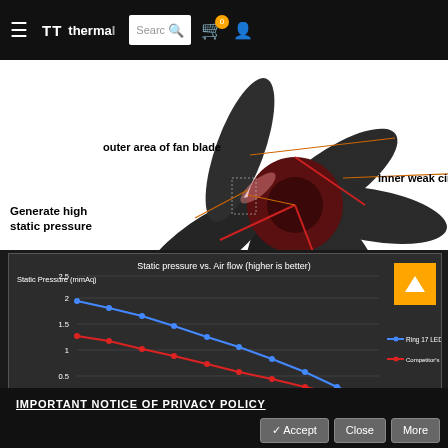thermaltake (nav header with search, cart, user icon)
[Figure (illustration): 3D render of a fan blade with annotations: 'outer area of fan blade', 'Inner weak circle', 'Generate high static pressure']
[Figure (line-chart): Static pressure vs. Air flow (higher is better)]
IMPORTANT NOTICE OF PRIVACY POLICY